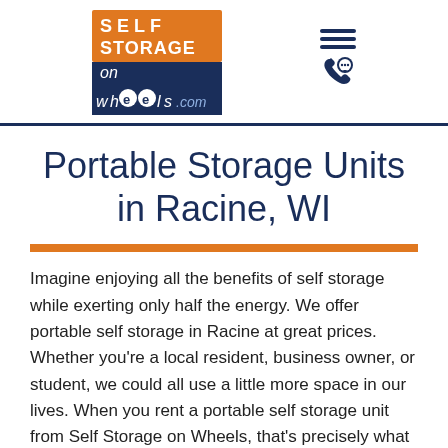[Figure (logo): Self Storage on Wheels logo with orange and blue branding, tagline 'Storage at Your Doorstep!']
Portable Storage Units in Racine, WI
Imagine enjoying all the benefits of self storage while exerting only half the energy. We offer portable self storage in Racine at great prices. Whether you’re a local resident, business owner, or student, we could all use a little more space in our lives. When you rent a portable self storage unit from Self Storage on Wheels, that’s precisely what you’ll get! We serve the greater Racine and Kenosha County areas, including